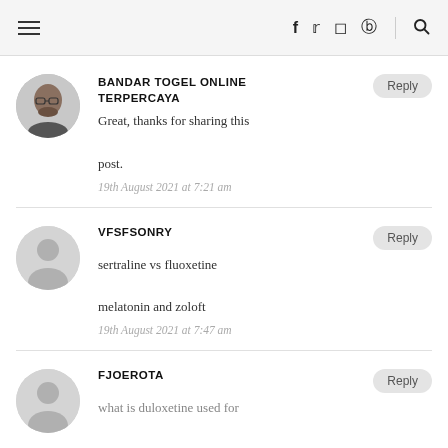≡  f  t  instagram  pinterest  🔍
BANDAR TOGEL ONLINE TERPERCAYA
Great, thanks for sharing this post.
19th August 2021 at 7:21 am
VFSFSONRY
sertraline vs fluoxetine
melatonin and zoloft
19th August 2021 at 7:47 am
FJOEROTA
what is duloxetine used for